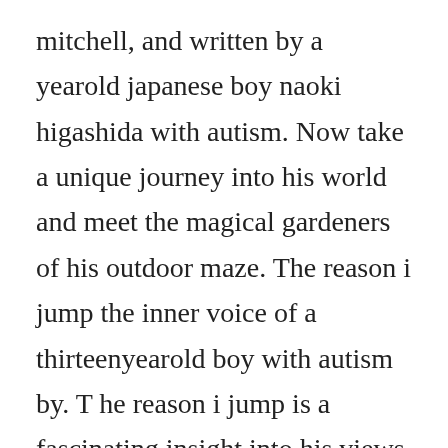mitchell, and written by a yearold japanese boy naoki higashida with autism. Now take a unique journey into his world and meet the magical gardeners of his outdoor maze. The reason i jump the inner voice of a thirteenyearold boy with autism by. T he reason i jump is a fascinating insight into his views on how autism has shaped his perspective of life. Parents and family members who never thought they could get inside the head of their. His first book, the reason i jump, written when he was just, entered the bestseller charts in britain and the